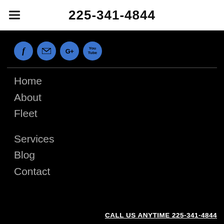225-341-4844
[Figure (infographic): Four blue circular social media icons: Facebook (f), Email (envelope), Google+ (G+), YouTube (You Tube)]
Home
About
Fleet
Services
Blog
Contact
CALL US ANYTIME 225-341-4844